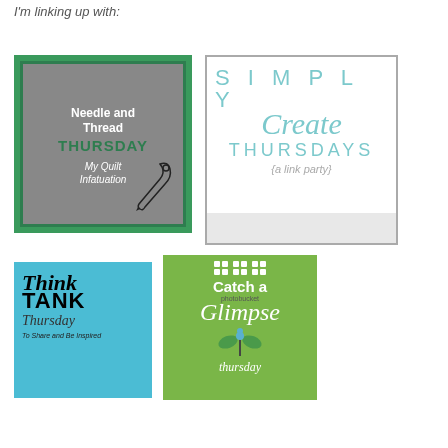I'm linking up with:
[Figure (logo): Needle and Thread Thursday - My Quilt Infatuation badge with green border and gray background]
[Figure (logo): Simply Create Thursdays - a link party badge with teal text on white background]
[Figure (logo): Think Tank Thursday badge with blue water background and italic black text]
[Figure (logo): Catch a Glimpse Thursday badge with green background, white dots grid, and script text]